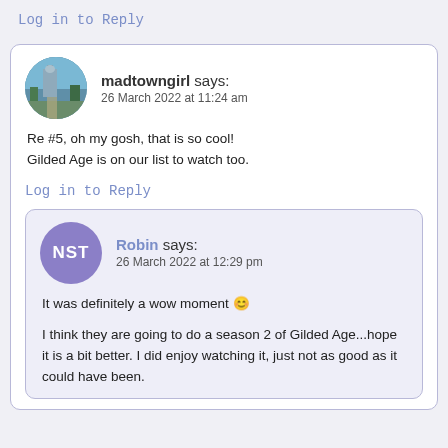Log in to Reply
madtowngirl says:
26 March 2022 at 11:24 am
[Figure (photo): Circular avatar photo of a city building/skyline scene]
Re #5, oh my gosh, that is so cool! Gilded Age is on our list to watch too.
Log in to Reply
Robin says:
26 March 2022 at 12:29 pm
It was definitely a wow moment 🙂
I think they are going to do a season 2 of Gilded Age...hope it is a bit better. I did enjoy watching it, just not as good as it could have been.